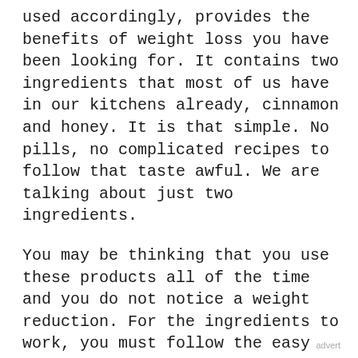used accordingly, provides the benefits of weight loss you have been looking for. It contains two ingredients that most of us have in our kitchens already, cinnamon and honey. It is that simple. No pills, no complicated recipes to follow that taste awful. We are talking about just two ingredients.
You may be thinking that you use these products all of the time and you do not notice a weight reduction. For the ingredients to work, you must follow the easy step-by-step recipe. Only then will you see the results you have been craving.
advert